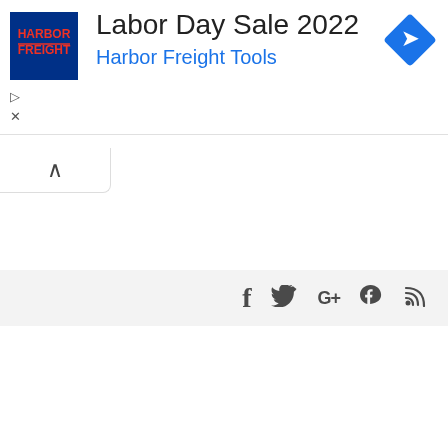[Figure (screenshot): Harbor Freight Tools advertisement banner with logo, text 'Labor Day Sale 2022', subtitle 'Harbor Freight Tools', navigation icon (blue diamond with arrow), play and close controls, a collapse button with chevron up, and a social media bar with Facebook, Twitter, Google+, and RSS icons.]
Labor Day Sale 2022
Harbor Freight Tools